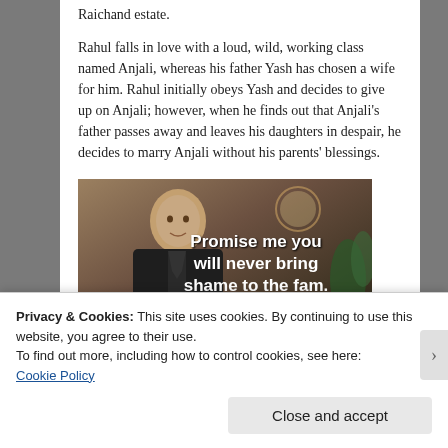Raichand estate.
Rahul falls in love with a loud, wild, working class named Anjali, whereas his father Yash has chosen a wife for him. Rahul initially obeys Yash and decides to give up on Anjali; however, when he finds out that Anjali's father passes away and leaves his daughters in despair, he decides to marry Anjali without his parents' blessings.
[Figure (photo): Screenshot from a movie showing a man in a suit with subtitle text reading: 'Promise me you will never bring shame to the fam.']
Privacy & Cookies: This site uses cookies. By continuing to use this website, you agree to their use.
To find out more, including how to control cookies, see here:
Cookie Policy
Close and accept